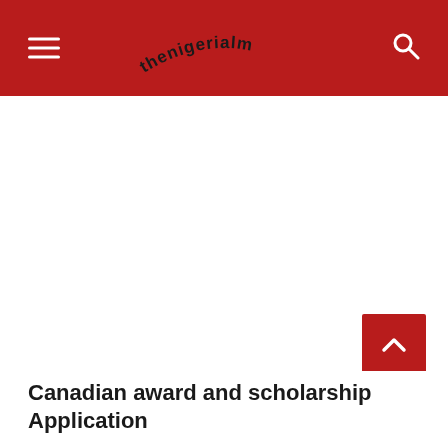thenigerialm
[Figure (other): Large white blank advertisement or image area below the header]
Canadian award and scholarship Application